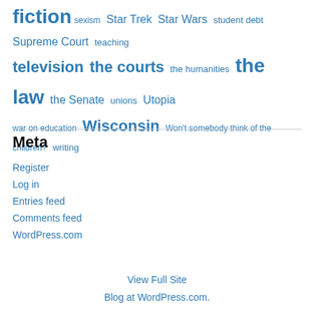fiction sexism Star Trek Star Wars student debt Supreme Court teaching television the courts the humanities the law the Senate unions Utopia war on education Wisconsin Won't somebody think of the children? writing
Meta
Register
Log in
Entries feed
Comments feed
WordPress.com
View Full Site
Blog at WordPress.com.